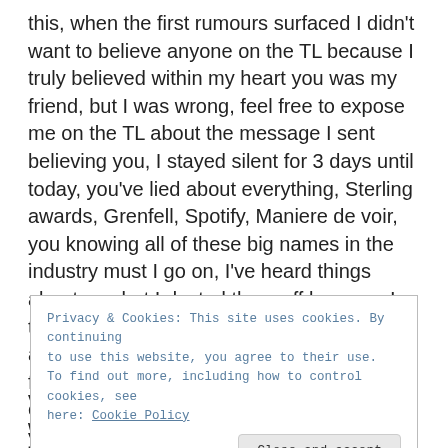this, when the first rumours surfaced I didn't want to believe anyone on the TL because I truly believed within my heart you was my friend, but I was wrong, feel free to expose me on the TL about the message I sent believing you, I stayed silent for 3 days until today, you've lied about everything, Sterling awards, Grenfell, Spotify, Maniere de voir, you knowing all of these big names in the industry must I go on, I've heard things about you but I dusted them off because I thought you was real, the way you talk about how people are fake, you're the fakest person I have ever met, and I'm embarrassed that I was associated with you, you promised me all these things, you promised A LOT of people things,
Privacy & Cookies: This site uses cookies. By continuing to use this website, you agree to their use.
To find out more, including how to control cookies, see here: Cookie Policy
Close and accept
very far when people take you to court over wrong doings of peoples hard earned money, I'm so glad